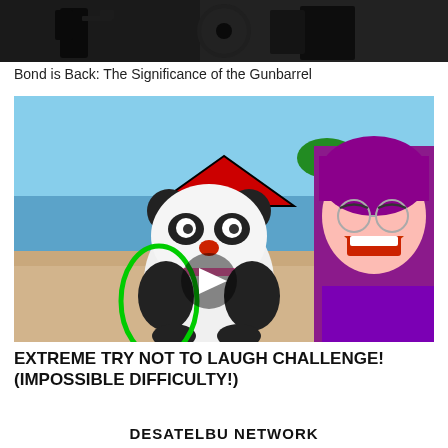[Figure (screenshot): Dark screenshot strip showing partial Bond gunbarrel scene with a figure holding a gun]
Bond is Back: The Significance of the Gunbarrel
[Figure (screenshot): YouTube video thumbnail showing an animated panda on a beach with a red arrow pointing at it, a green hula hoop, a play button in the center, and a laughing Asian man with purple hair on the right side]
EXTREME TRY NOT TO LAUGH CHALLENGE! (IMPOSSIBLE DIFFICULTY!)
DESATELBU NETWORK